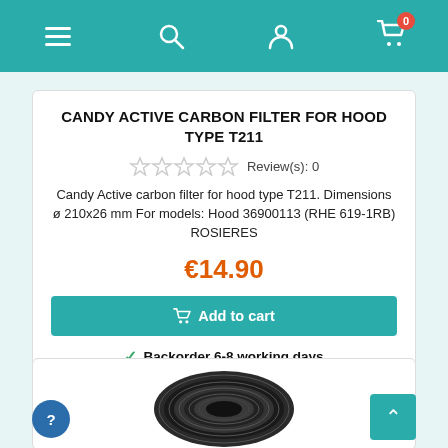Navigation bar with menu, search, account, and cart (0 items)
CANDY ACTIVE CARBON FILTER FOR HOOD TYPE T211
Review(s): 0
Candy Active carbon filter for hood type T211. Dimensions ø 210x26 mm For models: Hood 36900113 (RHE 619-1RB) ROSIERES
€14.90
Add to cart
Backorder 6-8 working days
[Figure (photo): Circular carbon filter for kitchen hood, black colored, round disc shape with central dark hub]